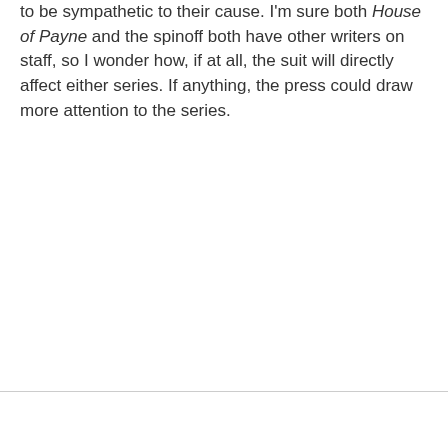to be sympathetic to their cause. I'm sure both House of Payne and the spinoff both have other writers on staff, so I wonder how, if at all, the suit will directly affect either series. If anything, the press could draw more attention to the series.